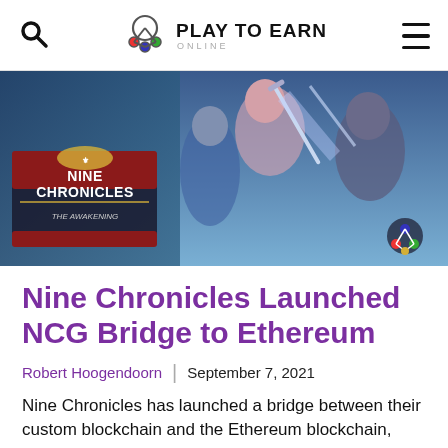Play To Earn Online
[Figure (illustration): Nine Chronicles game artwork showing anime-style characters with swords and the Nine Chronicles logo/title card on the left side]
Nine Chronicles Launched NCG Bridge to Ethereum
Robert Hoogendoorn  |  September 7, 2021
Nine Chronicles has launched a bridge between their custom blockchain and the Ethereum blockchain, which will allow players to move earned NCG tokens out of the game's ecosystem into the wider